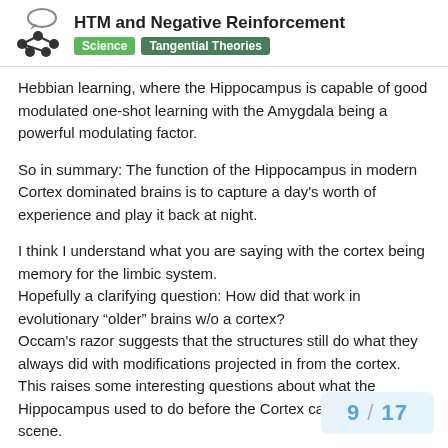HTM and Negative Reinforcement — Science | Tangential Theories
Hebbian learning, where the Hippocampus is capable of good modulated one-shot learning with the Amygdala being a powerful modulating factor.
So in summary: The function of the Hippocampus in modern Cortex dominated brains is to capture a day's worth of experience and play it back at night.
I think I understand what you are saying with the cortex being memory for the limbic system.
Hopefully a clarifying question: How did that work in evolutionary “older” brains w/o a cortex?
Occam's razor suggests that the structures still do what they always did with modifications projected in from the cortex. This raises some interesting questions about what the Hippocampus used to do before the Cortex came on the scene.
9 / 17